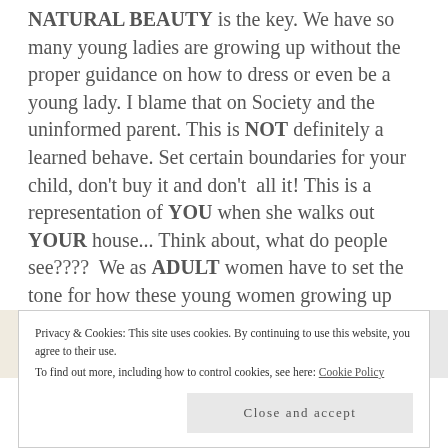NATURAL BEAUTY is the key. We have so many young ladies are growing up without the proper guidance on how to dress or even be a young lady. I blame that on Society and the uninformed parent. This is NOT definitely a learned behave. Set certain boundaries for your child, don't buy it and don't  all it! This is a representation of YOU when she walks out YOUR house... Think about, what do people see????  We as ADULT women have to set the tone for how these young women growing up SHOULD dress and behave in public.
[Figure (photo): Partial view of a decorative image strip with a circular icon on the left and what appears to be food/magazine imagery on the right.]
Privacy & Cookies: This site uses cookies. By continuing to use this website, you agree to their use.
To find out more, including how to control cookies, see here: Cookie Policy
Close and accept